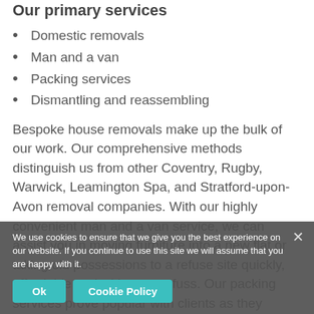Our primary services
Domestic removals
Man and a van
Packing services
Dismantling and reassembling
Bespoke house removals make up the bulk of our work. Our comprehensive methods distinguish us from other Coventry, Rugby, Warwick, Leamington Spa, and Stratford-upon-Avon removal companies. With our highly convenient man and a van service, we can assist you in moving furniture into a new flat or taking old possessions to a refuse site quickly, affordable and without any fuss. Our packing services prove popular with clients as they can add additional security for fragile items, knowing we will pack their belongings professionally and carefully. In tandem with the packing services we offer, our dismantling and reassembling option is
We use cookies to ensure that we give you the best experience on our website. If you continue to use this site we will assume that you are happy with it.